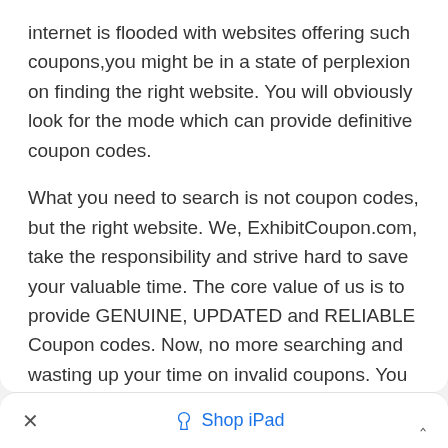internet is flooded with websites offering such coupons,you might be in a state of perplexion on finding the right website. You will obviously look for the mode which can provide definitive coupon codes.
What you need to search is not coupon codes, but the right website. We, ExhibitCoupon.com, take the responsibility and strive hard to save your valuable time. The core value of us is to provide GENUINE, UPDATED and RELIABLE Coupon codes. Now, no more searching and wasting up your time on invalid coupons. You can get all the valid coupons of esoterism.com at ExhibitCoupon.com. All the details and the authenticity of the coupon codes of Esoterism are checked by us respectively and all the coupon/promo codes are hand tested at ExhibitCoupon.com. The coupon codes are
× Shop iPad ^